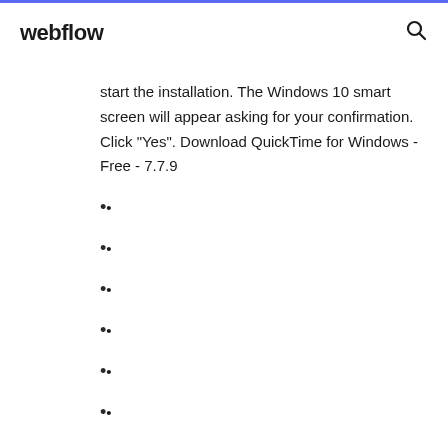webflow
start the installation. The Windows 10 smart screen will appear asking for your confirmation. Click "Yes". Download QuickTime for Windows - Free - 7.7.9